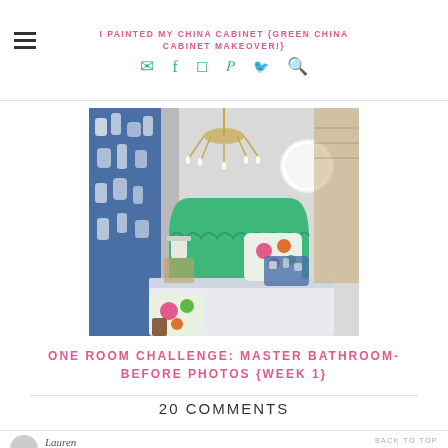I PAINTED MY CHINA CABINET {GREEN CHINA CABINET MAKEOVER!}
[Figure (photo): Bedroom interior with a green upholstered headboard, blue and white patterned curtains, floral pillows, a white bedspread, a gold chandelier, and a round white wall decoration.]
ONE ROOM CHALLENGE: MASTER BATHROOM- BEFORE PHOTOS {WEEK 1}
20 COMMENTS
Lauren